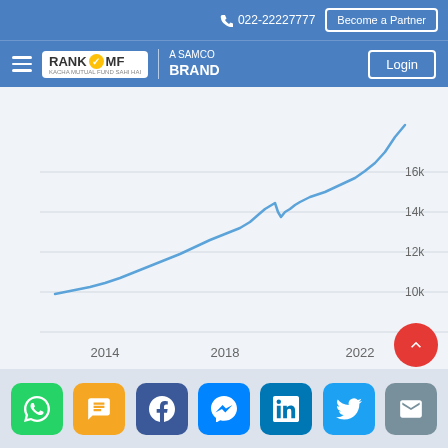022-22227777 | Become a Partner
[Figure (logo): RankMF - A Samco Brand logo with hamburger menu and Login button]
[Figure (line-chart): Line chart showing upward growth trend from ~10k in 2012 to ~17k+ in 2022, with y-axis labels 8k, 10k, 12k, 14k, 16k]
[Figure (infographic): Social sharing buttons: WhatsApp (green), SMS (yellow), Facebook (blue), Messenger (blue), LinkedIn (teal), Twitter (light blue), Email (grey). Red FAB up arrow.]